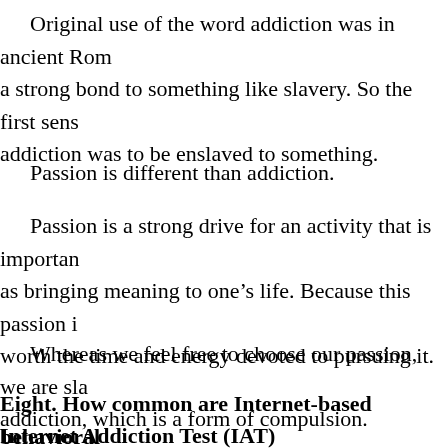Original use of the word addiction was in ancient Rom a strong bond to something like slavery. So the first sens addiction was to be enslaved to something.
Passion is different than addiction.
Passion is a strong drive for an activity that is importan as bringing meaning to one's life. Because this passion i worth the time and energy devoted to pursuing it.
Whereas we feel free to choose our passion, we are sla addiction, which is a form of compulsion.
Eight. How common are Internet-based behavioral
Internet Addiction Test (IAT)